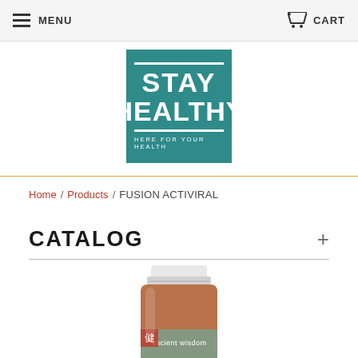MENU   CART
[Figure (logo): Stay Healthy logo — teal square with white text reading STAY HEALTHY and tagline HERE FOR YOUR HEALTH]
Home / Products / FUSION ACTIVIRAL
CATALOG
[Figure (photo): Product bottle of Fusion Activiral supplement — amber/brown bottle with white cap, partially visible label reading 'ancient wisdom']